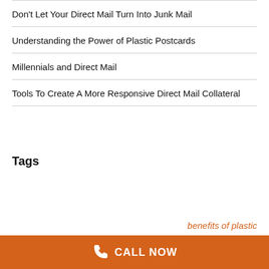Don't Let Your Direct Mail Turn Into Junk Mail
Understanding the Power of Plastic Postcards
Millennials and Direct Mail
Tools To Create A More Responsive Direct Mail Collateral
Tags
benefits of plastic
CALL NOW